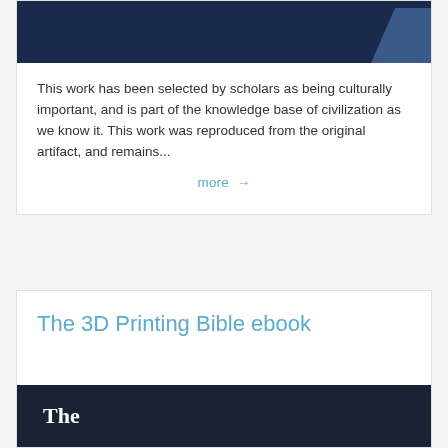[Figure (photo): Dark navy blue banner image at top of card, with a darker blue accent shape in the lower right corner]
This work has been selected by scholars as being culturally important, and is part of the knowledge base of civilization as we know it. This work was reproduced from the original artifact, and remains...
more →
The 3D Printing Bible ebook
[Figure (photo): Dark background image showing beginning of text 'The' in white serif bold font]